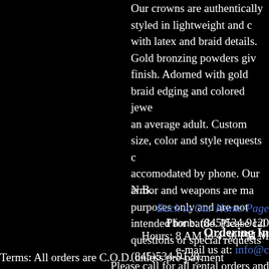Our crowns are authentically styled in lightweight and ... with latex and braid details. Gold bronzing powders giv... finish. Adorned with gold braid edging and colored jewe... an average adult. Custom size, color and style requests a... accomodated by phone. Our armor and weapons are ma... purposes only and are not intended for battle. Please cal... questions or special requests (845)534-9120.
N.B.
Back to Our Home Page
Phone: (845)534-9120
Hours: 8 AM to 4:30 PM M...
e-mail us at: info@c...
Ordering In...
Terms: All orders are C.O.D. unless pre-payment accompanies orde... Cards by te...
Please call for all rental orders and...